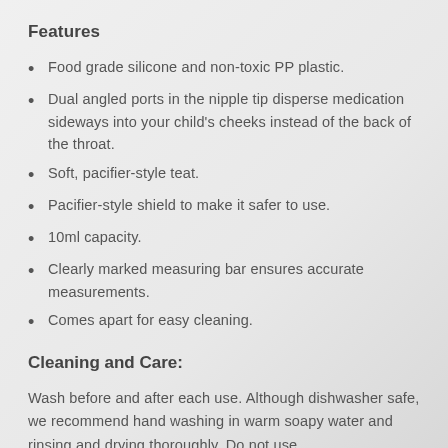Features
Food grade silicone and non-toxic PP plastic.
Dual angled ports in the nipple tip disperse medication sideways into your child's cheeks instead of the back of the throat.
Soft, pacifier-style teat.
Pacifier-style shield to make it safer to use.
10ml capacity.
Clearly marked measuring bar ensures accurate measurements.
Comes apart for easy cleaning.
Cleaning and Care:
Wash before and after each use. Although dishwasher safe, we recommend hand washing in warm soapy water and rinsing and drying thoroughly. Do not use